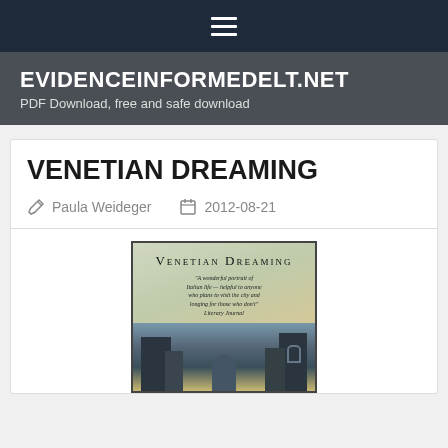≡ (navigation menu icon)
EVIDENCEINFORMEDELT.NET
PDF Download, free and safe download
VENETIAN DREAMING
Paula Weideger  2012-08-21
[Figure (photo): Book cover of 'Venetian Dreaming' by Paula Weideger, showing the title in small caps, a quote, and a painted/photographic scene of Venetian buildings and architecture with greenish-gold tones.]